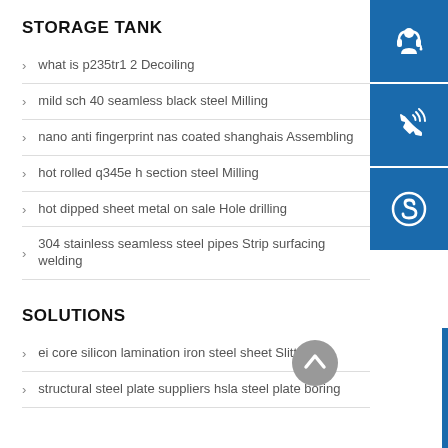STORAGE TANK
what is p235tr1 2 Decoiling
mild sch 40 seamless black steel Milling
nano anti fingerprint nas coated shanghais Assembling
hot rolled q345e h section steel Milling
hot dipped sheet metal on sale Hole drilling
304 stainless seamless steel pipes Strip surfacing welding
SOLUTIONS
ei core silicon lamination iron steel sheet Slitting
structural steel plate suppliers hsla steel plate boring
[Figure (infographic): Three blue icon buttons on the right sidebar: customer service headset icon, phone/call icon, and Skype icon. A grey circular scroll-up arrow button near bottom center-right.]